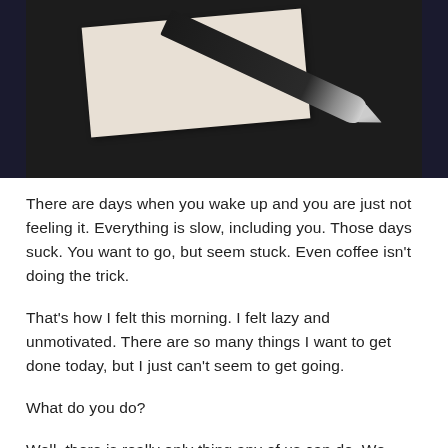[Figure (photo): Top-down photo of a dark surface with a pen/pencil resting diagonally across a folded piece of paper or envelope]
There are days when you wake up and you are just not feeling it. Everything is slow, including you. Those days suck. You want to go, but seem stuck. Even coffee isn't doing the trick.
That's how I felt this morning. I felt lazy and unmotivated. There are so many things I want to get done today, but I just can't seem to get going.
What do you do?
Well, there is really only thing any of us can do. We gotta move. It doesn't matter if we are moving in slow motion.